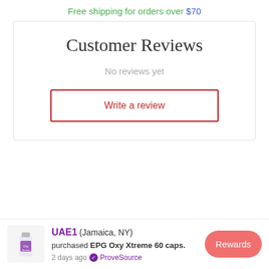Free shipping for orders over $70
Customer Reviews
No reviews yet
Write a review
[Figure (screenshot): Notification bar showing UAE1 (Jamaica, NY) purchased EPG Oxy Xtreme 60 caps. 2 days ago, ProveSource badge, product bottle image, and Rewards button.]